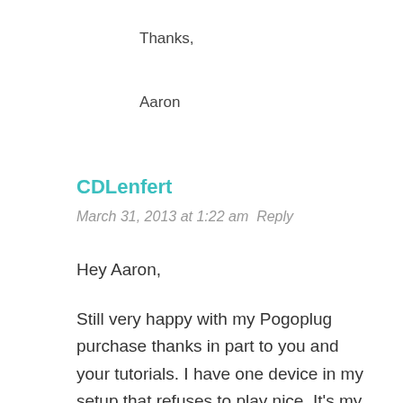Thanks,
Aaron
CDLenfert
March 31, 2013 at 1:22 am  Reply
Hey Aaron,
Still very happy with my Pogoplug purchase thanks in part to you and your tutorials. I have one device in my setup that refuses to play nice. It’s my softmodded Wii with WiiMC Media Player. WiiMC has the ability to access SMB shares, and I can connect it to my computer, but it doesn’t